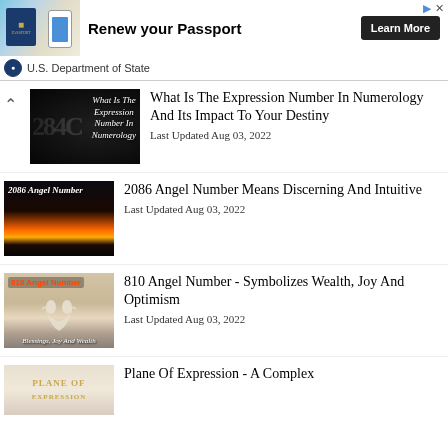[Figure (infographic): U.S. Department of State advertisement banner: passport and phone image on left, 'Renew your Passport' text in center, 'Learn More' black button on right, U.S. Department of State logo and name below]
What Is The Expression Number In Numerology And Its Impact To Your Destiny
Last Updated Aug 03, 2022
2086 Angel Number Means Discerning And Intuitive
Last Updated Aug 03, 2022
810 Angel Number - Symbolizes Wealth, Joy And Optimism
Last Updated Aug 03, 2022
Plane Of Expression - A Complex